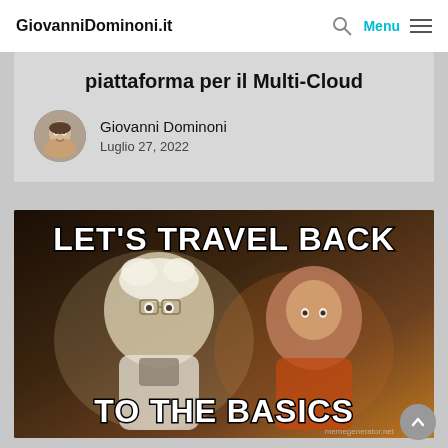GiovanniDominoni.it  🔍  Menu  ☰
piattaforma per il Multi-Cloud
Giovanni Dominoni
Luglio 27, 2022
[Figure (photo): Meme image showing two characters from Back to the Future with bold white text overlaid reading 'LET'S TRAVEL BACK' at the top and 'TO THE BASICS' at the bottom. Watermark reads 'memegenerator.net'.]